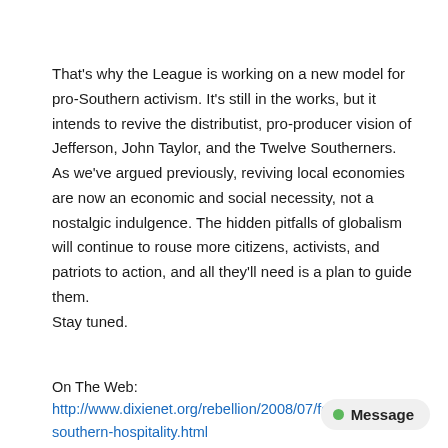That's why the League is working on a new model for pro-Southern activism. It's still in the works, but it intends to revive the distributist, pro-producer vision of Jefferson, John Taylor, and the Twelve Southerners. As we've argued previously, reviving local economies are now an economic and social necessity, not a nostalgic indulgence. The hidden pitfalls of globalism will continue to rouse more citizens, activists, and patriots to action, and all they'll need is a plan to guide them.
Stay tuned.
On The Web: http://www.dixienet.org/rebellion/2008/07/folly-of-southern-hospitality.html